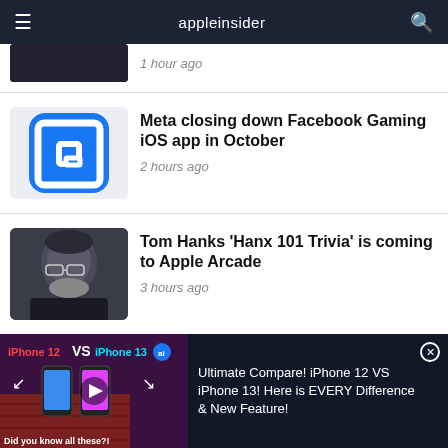appleinsider
1 hour ago
Meta closing down Facebook Gaming iOS app in October
2 hours ago
Tom Hanks 'Hanx 101 Trivia' is coming to Apple Arcade
3 hours ago
[Figure (screenshot): Advertisement banner: iPhone 12 VS iPhone 13 comparison video thumbnail with text 'Did you know all these?!' and 'Ultimate Compare! iPhone 12 VS iPhone 13! Here is EVERY Difference & New Feature!']